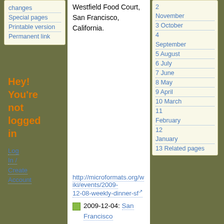changes
Special pages
Printable version
Permanent link
Hey! You're not logged in
Log In / Create Account
Westfield Food Court, San Francisco, California.
2 November
3 October
4 September
5 August
6 July
7 June
8 May
9 April
10 March
11 February
12 January
13 Related pages
http://microformats.org/wiki/events/2009-12-08-weekly-dinner-sf
2009-12-04: San Francisco microformats workshop at San Francisco, CA. Taught by Tantek Celik, this workshop covers just